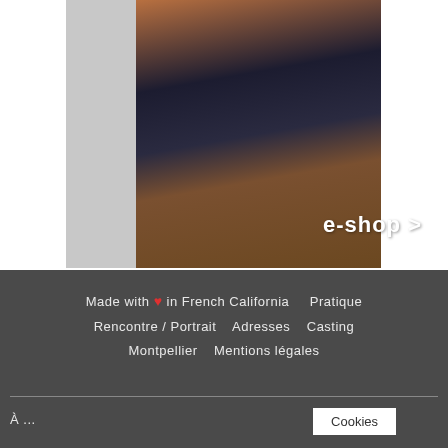[Figure (photo): Fashion photo showing a person wearing a dark navy top and brown/olive trousers. The image has a grey area on the left side. An 'e-shop >' text overlay appears in white bold text in the lower-right of the image.]
e-shop >
Made with ❤ in French California   Pratique
Rencontre / Portrait   Adresses   Casting
Montpellier   Mentions légales
Cookies
À...